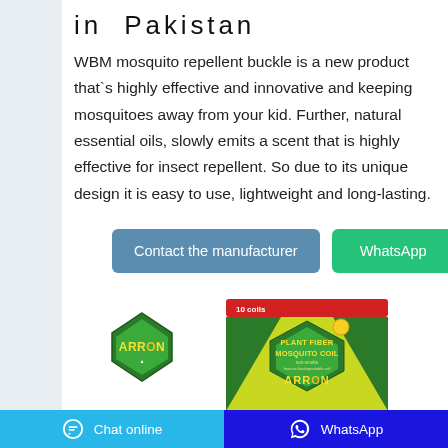in Pakistan
WBM mosquito repellent buckle is a new product that`s highly effective and innovative and keeping mosquitoes away from your kid. Further, natural essential oils, slowly emits a scent that is highly effective for insect repellent. So due to its unique design it is easy to use, lightweight and long-lasting.
[Figure (screenshot): Two buttons: 'Contact the manufacturer' (blue) and 'WhatsApp' (green)]
[Figure (logo): Arrow brand logo - green diamond shape with ARRON text]
[Figure (photo): Arrow Plant Fiber Mosquito Coil product package - green and yellow box with ARRON logo]
Chat online   WhatsApp